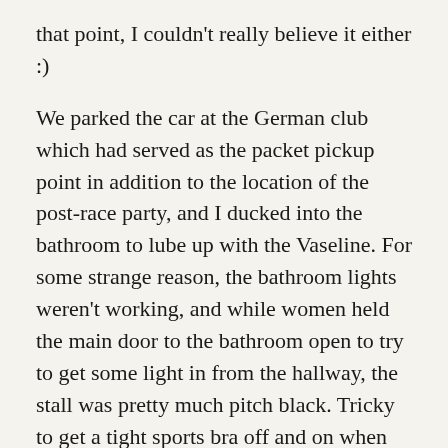that point, I couldn't really believe it either :)
We parked the car at the German club which had served as the packet pickup point in addition to the location of the post-race party, and I ducked into the bathroom to lube up with the Vaseline. For some strange reason, the bathroom lights weren't working, and while women held the main door to the bathroom open to try to get some light in from the hallway, the stall was pretty much pitch black. Tricky to get a tight sports bra off and on when you can't see! I ended up putting on more Vaseline than usual, just trying to make sure I didn't miss spots, and emerged basically covered in the stuff. I also realized that I had accidentally bought a different kind than usual – this was Vaseline mixed with aloe lotion, so it blended into the skin more instead of providing a slicker surface protection. I heard it could be used the